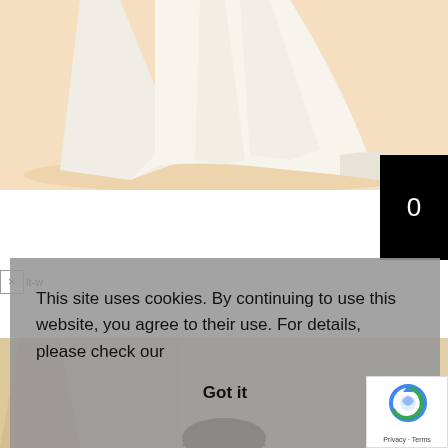[Figure (photo): Wedding dress lower portion with train on a cream/peach background, showing flowing white fabric and shoes]
[Figure (other): Black badge/button with white number '0' in top-right corner]
[Figure (other): Broken image icon (x) with partial text 'lt-w' visible]
This site uses cookies. By continuing to use this website, you agree to their use. For details, please check our
Got it
[Figure (other): reCAPTCHA badge with Google logo, showing 'Privacy - Terms' text]
[Figure (photo): Bottom portion of another wedding dress photo showing a person's head/hair]